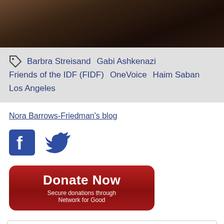[Figure (photo): Partial photo of a person with dark clothing, cropped at top of page]
Barbra Streisand   Gabi Ashkenazi   Friends of the IDF (FIDF)   OneVoice   Haim Saban   Los Angeles
Nora Barrows-Friedman's blog
[Figure (other): Facebook and Twitter social share icons]
[Figure (other): Donate Now button - Secure donations through Network for Good]
Comments